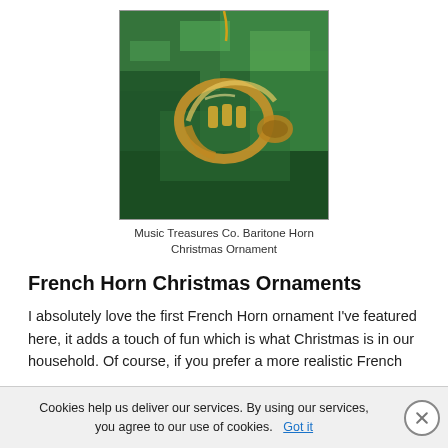[Figure (photo): A gold baritone horn/euphonium Christmas ornament hanging on a Christmas tree with green pine needle branches in the background. The ornament is metallic gold colored and shaped like a baritone horn.]
Music Treasures Co. Baritone Horn Christmas Ornament
French Horn Christmas Ornaments
I absolutely love the first French Horn ornament I've featured here, it adds a touch of fun which is what Christmas is in our household. Of course, if you prefer a more realistic French
Cookies help us deliver our services. By using our services, you agree to our use of cookies. Got it